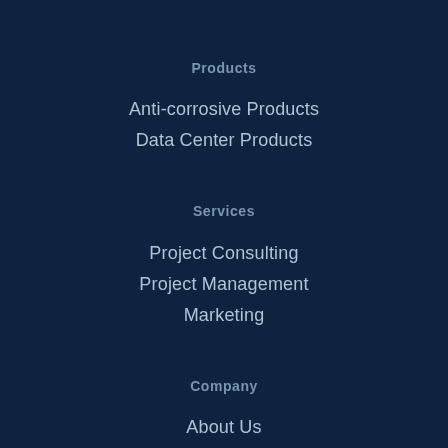Products
Anti-corrosive Products
Data Center Products
Services
Project Consulting
Project Management
Marketing
Company
About Us